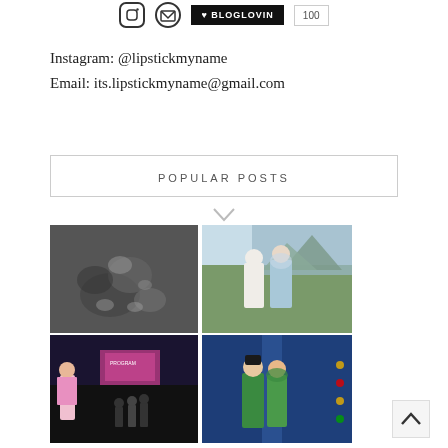[Figure (infographic): Social media icons row: Instagram icon circle, email envelope icon circle, BLOGLOVIN black button, follower count box showing 100]
Instagram: @lipstickmyname
Email: its.lipstickmyname@gmail.com
POPULAR POSTS
[Figure (photo): 2x2 grid of popular post thumbnail photos: top-left is black and white close-up of baby feet, top-right is a couple posing outdoors with scenic background, bottom-left is a woman in pink hijab at an event stage, bottom-right is a couple in traditional green Malaysian attire]
[Figure (other): Scroll-to-top button with upward chevron arrow in bottom right corner]